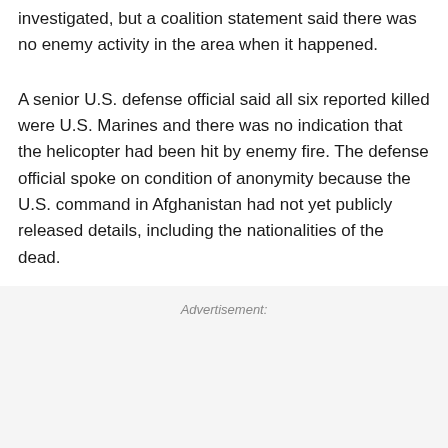investigated, but a coalition statement said there was no enemy activity in the area when it happened.
A senior U.S. defense official said all six reported killed were U.S. Marines and there was no indication that the helicopter had been hit by enemy fire. The defense official spoke on condition of anonymity because the U.S. command in Afghanistan had not yet publicly released details, including the nationalities of the dead.
Advertisement: